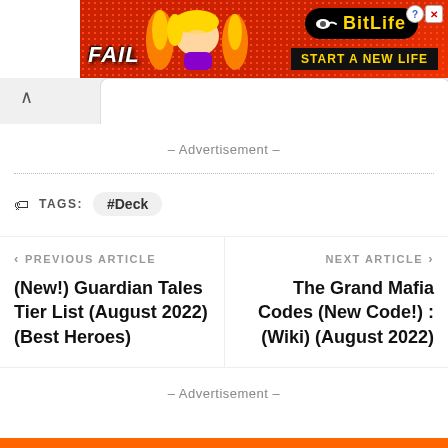[Figure (screenshot): BitLife advertisement banner with red dotted background, FAIL text, cartoon character, and 'START A NEW LIFE' tagline]
– Advertisement –
TAGS:   #Deck
‹ PREVIOUS ARTICLE
(New!) Guardian Tales Tier List (August 2022) (Best Heroes)
NEXT ARTICLE ›
The Grand Mafia Codes (New Code!) : (Wiki) (August 2022)
– Advertisement –